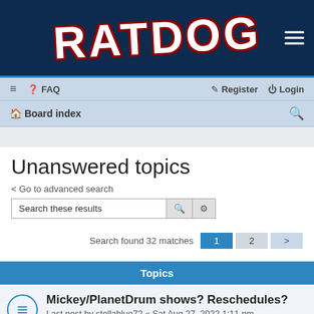[Figure (logo): RATDOG logo in white grunge letters with dark red outline on dark navy background, with hamburger menu icon top right]
≡  FAQ    Register  Login  |  Board index
Unanswered topics
< Go to advanced search
Search these results   [search icon] [settings icon]
Search found 32 matches  1  2  >
| Topics |
| --- |
| Mickey/PlanetDrum shows? Reschedules?
Last post by stellablue72 « Sat Aug 27, 2022 1:11 pm
Posted in Message Board |
| 8-27-05 |